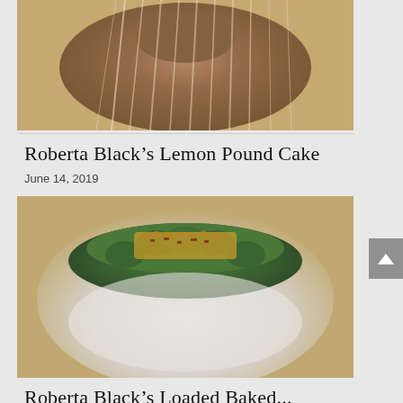[Figure (photo): A bundt cake with white glaze drizzled over it, shown from above at an angle. The cake has a golden-brown color visible beneath the glaze.]
Roberta Black’s Lemon Pound Cake
June 14, 2019
[Figure (photo): A layered dish resembling a cake covered in white creamy topping, topped with a ring of broccoli florets, shredded cheddar cheese, and bacon crumbles.]
Roberta Black’s Loaded Baked...